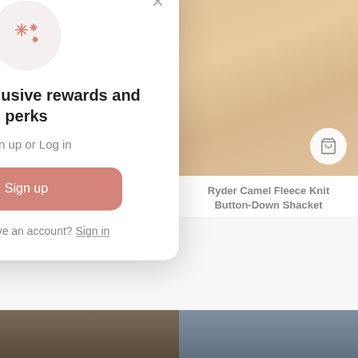[Figure (photo): Woman wearing Liberty Grey Plaid Button-Down Long Shacket, left product card]
[Figure (photo): Woman wearing Ryder Camel Fleece Knit Button-Down Shacket, right product card]
Liberty Grey Plaid Button-Down Long Shacket
Ryder Camel Fleece Knit Button-Down Shacket
[Figure (illustration): Modal popup with sparkle icon — Unlock exclusive rewards and perks]
Unlock exclusive rewards and perks
Sign up or Log in
Sign up
Already have an account? Sign in
[Figure (photo): Partial bottom strip showing two more product photos]